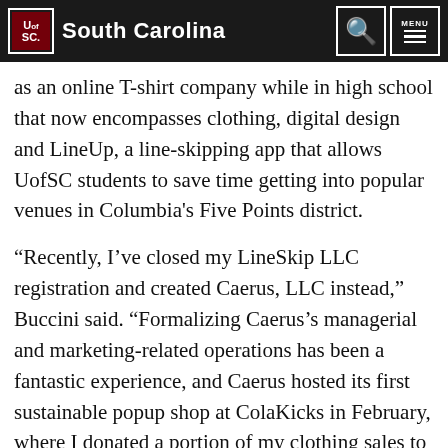University of South Carolina
as an online T-shirt company while in high school that now encompasses clothing, digital design and LineUp, a line-skipping app that allows UofSC students to save time getting into popular venues in Columbia's Five Points district.
“Recently, I’ve closed my LineSkip LLC registration and created Caerus, LLC instead,” Buccini said. “Formalizing Caerus’s managerial and marketing-related operations has been a fantastic experience, and Caerus hosted its first sustainable popup shop at ColaKicks in February, where I donated a portion of my clothing sales to UofSC’s Ecoreps. I’m using Caerus to encompass everything, including clothing, LineUp/future apps, other digital products, including logos,